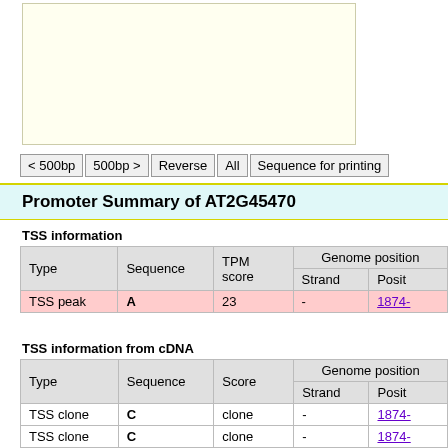[Figure (illustration): Beige/cream colored box (likely a sequence or diagram area) on the left, white area on the right top]
< 500bp | 500bp > | Reverse | All | Sequence for printing
Promoter Summary of AT2G45470
TSS information
| Type | Sequence | TPM score | Genome position |  |
| --- | --- | --- | --- | --- |
|  |  |  | Strand | Posit... |
| TSS peak | A | 23 | - | 1874... |
TSS information from cDNA
| Type | Sequence | Score | Genome position |  |
| --- | --- | --- | --- | --- |
|  |  |  | Strand | Posit... |
| TSS clone | C | clone | - | 1874- |
| TSS clone | C | clone | - | 1874- |
| TSS clone | A | clone | - | 1874- |
| TSS clone | C | clone | - | 1874- |
| TSS clone | T | clone | - | 1874- |
| TSS clone | C | clone | - | 1874- |